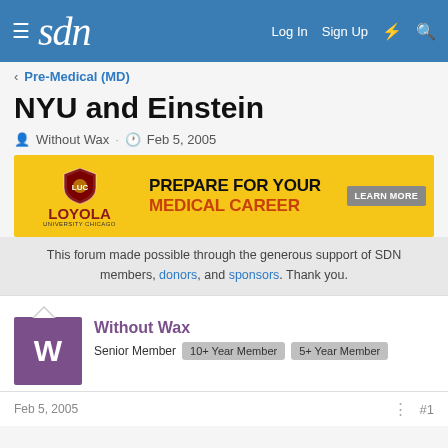sdn  Log In  Sign Up
Pre-Medical (MD)
NYU and Einstein
Without Wax · Feb 5, 2005
[Figure (other): Loyola University Chicago advertisement banner: PREPARE FOR YOUR MEDICAL CAREER - LEARN MORE]
This forum made possible through the generous support of SDN members, donors, and sponsors. Thank you.
Without Wax
Senior Member  10+ Year Member  5+ Year Member
Feb 5, 2005  #1